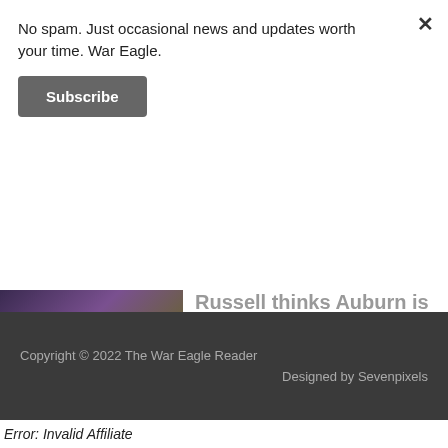No spam. Just occasional news and updates worth your time. War Eagle.
Subscribe
Russell thinks Auburn is 'the best school of all time'
[Figure (photo): A partial photo of a person wearing a purple outfit, partially obscured by the popup overlay]
Copyright © 2022 The War Eagle Reader
Designed by Sevenpixels
Error: Invalid Affiliate